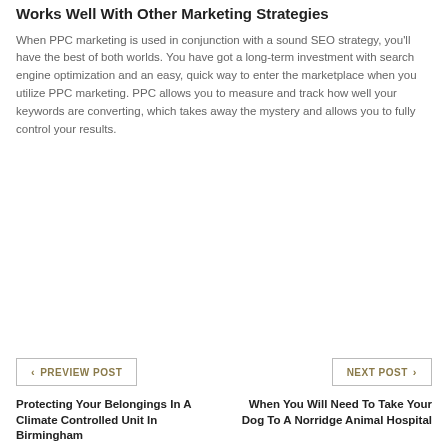Works Well With Other Marketing Strategies
When PPC marketing is used in conjunction with a sound SEO strategy, you'll have the best of both worlds. You have got a long-term investment with search engine optimization and an easy, quick way to enter the marketplace when you utilize PPC marketing. PPC allows you to measure and track how well your keywords are converting, which takes away the mystery and allows you to fully control your results.
PREVIEW POST
NEXT POST
Protecting Your Belongings In A Climate Controlled Unit In Birmingham
When You Will Need To Take Your Dog To A Norridge Animal Hospital